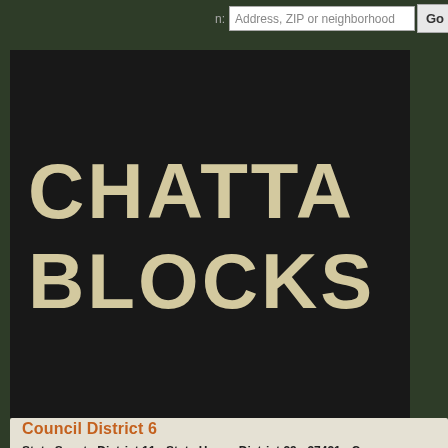n: Address, ZIP or neighborhood  Go
[Figure (logo): Chatta Blocks logo - large bold text on black background reading CHATTA BLOCKS]
Council District 6
State Senate District 11 › State House District 29 › 37421 › Comm
Nearby lo
37411
37421
Council Distric
[Figure (map): Map showing Council District 6 boundaries with dark green and teal colored district shapes on a light gray background]